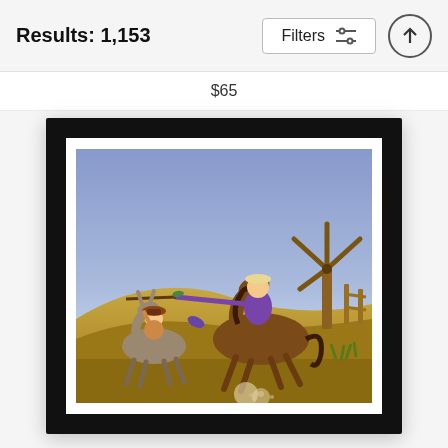Results: 1,153
Filters
$65
[Figure (illustration): A framed illustration showing two cartoon-style characters on horseback in a landscape scene. One character on a horse charges forward with a lance/rifle aimed forward, while another smaller character on a donkey appears to be getting struck or reacting. The background shows a blue sky, golden grassy hills, and a wooden windmill structure in the right background. The artwork has a watercolor style and is mounted in a thick black frame with white mat.]